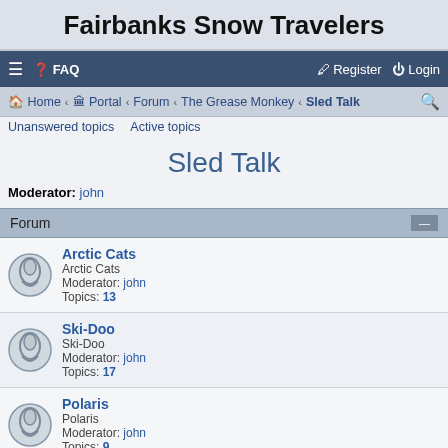Fairbanks Snow Travelers
≡  FAQ    Register  Login
Home · Portal · Forum · The Grease Monkey · Sled Talk
Unanswered topics   Active topics
Sled Talk
Moderator: john
| Forum |
| --- |
| Arctic Cats | Arctic Cats | Moderator: john | Topics: 13 |
| Ski-Doo | Ski-Doo | Moderator: john | Topics: 17 |
| Polaris | Polaris | Moderator: john | Topics: 9 |
| Yamaha | Yamaha | Moderator: john | Topics: 6 |
| Vintage Sleds |  |  |  |